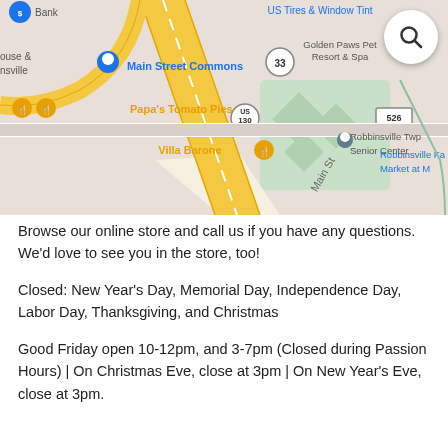[Figure (map): Google Maps screenshot showing area around Main Street Commons, Papa's Tomato Pies, Villa Barone, Robbinsville Twp Senior Center, Golden Paws Pet Resort & Spa, US Tires & Window Tint. Roads include Route 33, Route 130, Route 526 and Main St. Yellow highway routes visible.]
Browse our online store and call us if you have any questions. We'd love to see you in the store, too!
Closed: New Year's Day, Memorial Day, Independence Day, Labor Day, Thanksgiving, and Christmas
Good Friday open 10-12pm, and 3-7pm (Closed during Passion Hours) | On Christmas Eve, close at 3pm | On New Year's Eve, close at 3pm.